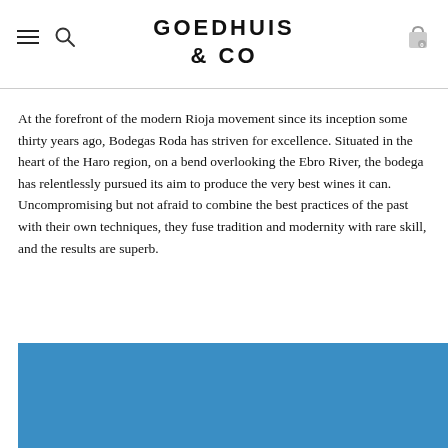GOEDHUIS
& CO
At the forefront of the modern Rioja movement since its inception some thirty years ago, Bodegas Roda has striven for excellence. Situated in the heart of the Haro region, on a bend overlooking the Ebro River, the bodega has relentlessly pursued its aim to produce the very best wines it can. Uncompromising but not afraid to combine the best practices of the past with their own techniques, they fuse tradition and modernity with rare skill, and the results are superb.
[Figure (photo): Blue background image, partially visible at the bottom of the page]